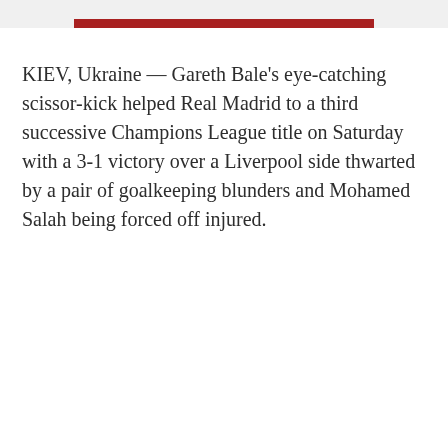[Figure (other): Red horizontal bar graphic at top of page]
KIEV, Ukraine — Gareth Bale's eye-catching scissor-kick helped Real Madrid to a third successive Champions League title on Saturday with a 3-1 victory over a Liverpool side thwarted by a pair of goalkeeping blunders and Mohamed Salah being forced off injured.